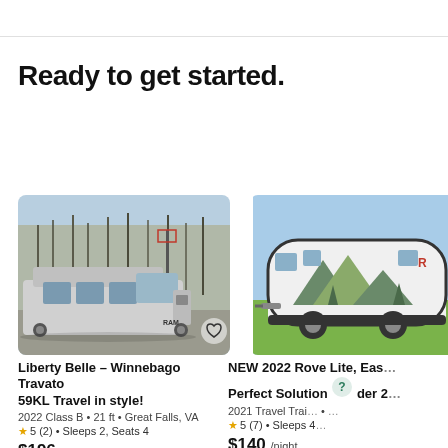Ready to get started.
[Figure (photo): Photo of a white Winnebago Travato Class B camper van parked outdoors with bare trees and a basketball hoop in background]
Liberty Belle – Winnebago Travato 59KL Travel in style!
2022 Class B • 21 ft • Great Falls, VA
★5 (2) • Sleeps 2, Seats 4
$196 /night
[Figure (photo): Photo of a white 2022 Rove Lite travel trailer with mountain/tree graphics, parked on green grass with blue sky]
NEW 2022 Rove Lite, Eas... Perfect Solution ... der 2...
2021 Travel Trai... • ...
★5 (7) • Sleeps 4...
$140 /night